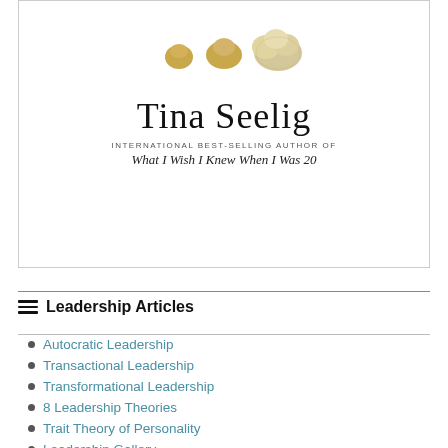[Figure (photo): Book cover for Tina Seelig showing nuts growing in sequence, author name, and subtitle 'What I Wish I Knew When I Was 20']
Leadership Articles
Autocratic Leadership
Transactional Leadership
Transformational Leadership
8 Leadership Theories
Trait Theory of Personality
Leadership Gallery